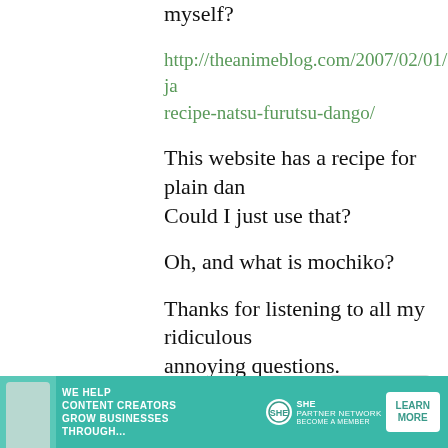myself?
http://theanimeblog.com/2007/02/01/ja recipe-natsu-furutsu-dango/
This website has a recipe for plain dan Could I just use that?
Oh, and what is mochiko?
Thanks for listening to all my ridiculous annoying questions.
Chad
7 March,
Looks
[Figure (infographic): Advertisement banner for SHE Partner Network with text 'We help content creators grow businesses through...' and a Learn More button]